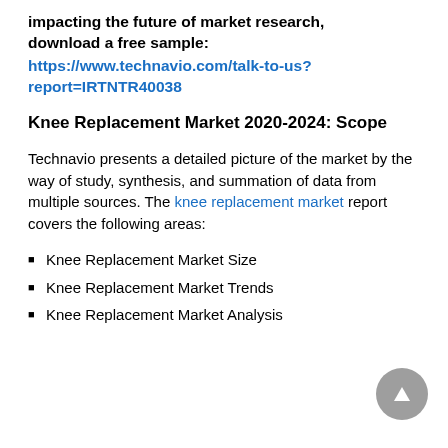impacting the future of market research, download a free sample:
https://www.technavio.com/talk-to-us?report=IRTNTR40038
Knee Replacement Market 2020-2024: Scope
Technavio presents a detailed picture of the market by the way of study, synthesis, and summation of data from multiple sources. The knee replacement market report covers the following areas:
Knee Replacement Market Size
Knee Replacement Market Trends
Knee Replacement Market Analysis